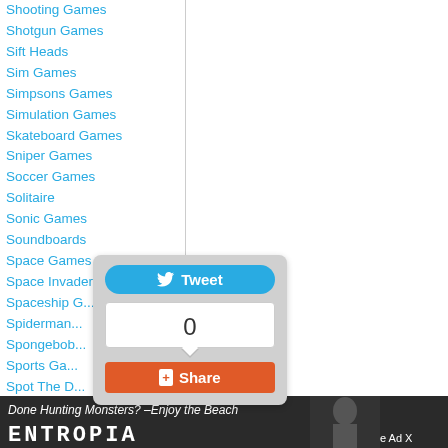Shooting Games
Shotgun Games
Sift Heads
Sim Games
Simpsons Games
Simulation Games
Skateboard Games
Sniper Games
Soccer Games
Solitaire
Sonic Games
Soundboards
Space Games
Space Invaders
Spaceship G...
Spiderman...
Spongebob...
Sports Ga...
Spot The D...
Star War G...
Stealth Ga...
Stick Game...
Strategic G...
Strategy Games
Stunts Games
Sudoku Games
Sue Games
Superhero Games
Superman Games
[Figure (screenshot): Social sharing popup with Tweet button, count of 0, and Share button]
[Figure (screenshot): Bottom advertisement banner: Done Hunting Monsters? Enjoy the Beach - ENTROPIA, Close Ad x]